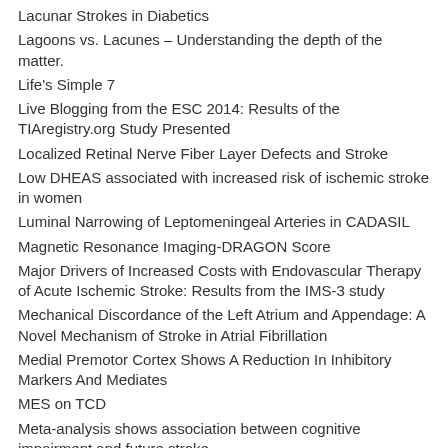Lacunar Strokes in Diabetics
Lagoons vs. Lacunes – Understanding the depth of the matter.
Life's Simple 7
Live Blogging from the ESC 2014: Results of the TIAregistry.org Study Presented
Localized Retinal Nerve Fiber Layer Defects and Stroke
Low DHEAS associated with increased risk of ischemic stroke in women
Luminal Narrowing of Leptomeningeal Arteries in CADASIL
Magnetic Resonance Imaging-DRAGON Score
Major Drivers of Increased Costs with Endovascular Therapy of Acute Ischemic Stroke: Results from the IMS-3 study
Mechanical Discordance of the Left Atrium and Appendage: A Novel Mechanism of Stroke in Atrial Fibrillation
Medial Premotor Cortex Shows A Reduction In Inhibitory Markers And Mediates
MES on TCD
Meta-analysis shows association between cognitive impairment and future stroke
Mirror, mirror on the wall, is priming helping stroke patients to recover faster?
MMP9 variation after thrombolysis in acute ischemic stroke
More is more: Dose-response benefits of therapy after stroke
Mortality after MI associated Ischemic Stroke in Sweden